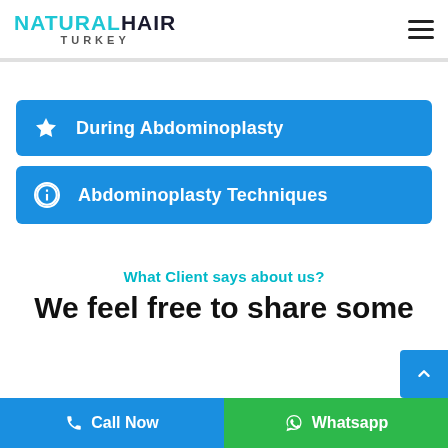NATURAL HAIR TURKEY
During Abdominoplasty
Abdominoplasty Techniques
What Client says about us?
We feel free to share some
Call Now   Whatsapp